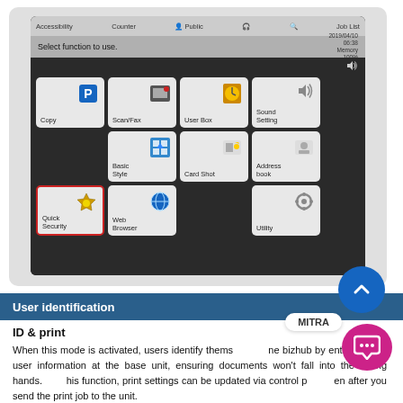[Figure (screenshot): Screenshot of bizhub control panel showing function tiles: Copy, Scan/Fax, User Box, Sound Setting, Basic Style, Card Shot, Address book, Quick Security (highlighted with red border), Web Browser, Utility. Top bar shows Accessibility, Counter, Public, Job List menus.]
User identification
ID & print
When this mode is activated, users identify themselves at the bizhub by entering their user information at the base unit, ensuring documents won't fall into the wrong hands. With this function, print settings can be updated via control panel even after you send the print job to the unit.